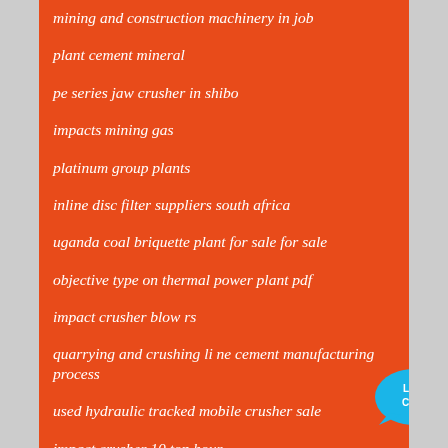mining and construction machinery in job
plant cement mineral
pe series jaw crusher in shibo
impacts mining gas
platinum group plants
inline disc filter suppliers south africa
uganda coal briquette plant for sale for sale
objective type on thermal power plant pdf
impact crusher blow rs
quarrying and crushing li ne cement manufacturing process
used hydraulic tracked mobile crusher sale
impact crusher 10 ton hour
[Figure (illustration): Live Chat button with speech bubble icon in blue]